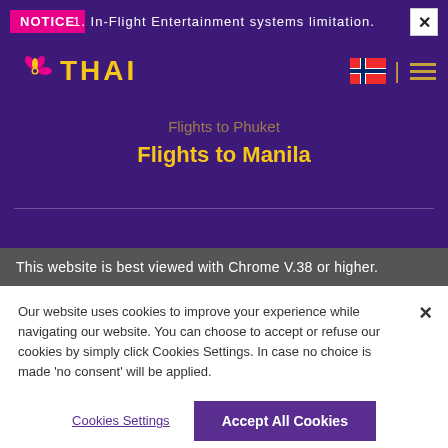NOTICE
1. In-Flight Entertainment systems limitation.
[Figure (logo): Thai Airways logo with stylized lotus icon and THAI text in gold on purple background]
[Figure (other): Norwegian flag icon and hamburger menu icon]
Flights to Phuket
Flights to Manila
This website is best viewed with Chrome V.38 or higher.
Our website uses cookies to improve your experience while navigating our website. You can choose to accept or refuse our cookies by simply click Cookies Settings. In case no choice is made 'no consent' will be applied.
Cookies Settings
Accept All Cookies